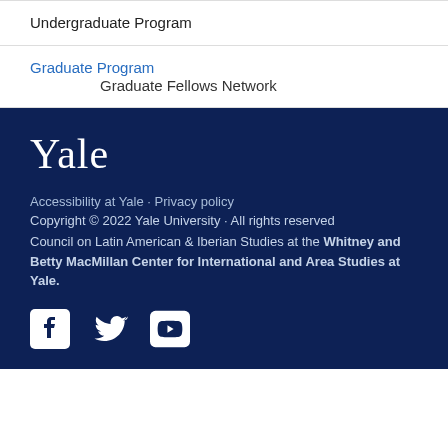Undergraduate Program
Graduate Program
Graduate Fellows Network
Yale
Accessibility at Yale · Privacy policy
Copyright © 2022 Yale University · All rights reserved
Council on Latin American & Iberian Studies at the Whitney and Betty MacMillan Center for International and Area Studies at Yale.
[Figure (logo): Facebook, Twitter, and YouTube social media icons in white]